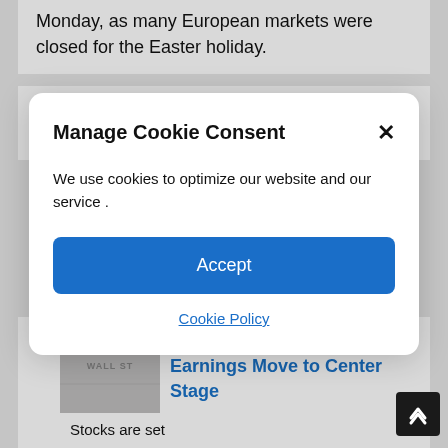Monday, as many European markets were closed for the Easter holiday.
Yield Dynamics Put EUR/USD
Manage Cookie Consent
We use cookies to optimize our website and our service .
Accept
Cookie Policy
Stocks Steady as Corporate Earnings Move to Center Stage
Stocks are set